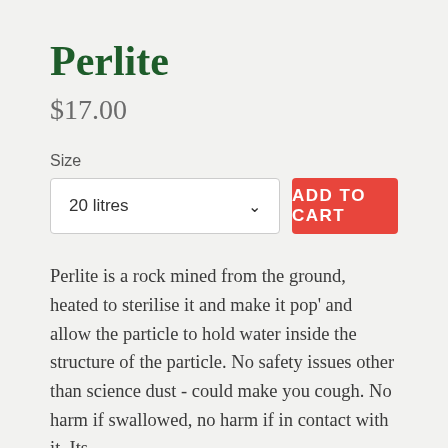Perlite
$17.00
Size
20 litres
ADD TO CART
Perlite is a rock mined from the ground, heated to sterilise it and make it pop' and allow the particle to hold water inside the structure of the particle. No safety issues other than science dust - could make you cough. No harm if swallowed, no harm if in contact with it. Its sterilised it too, so no contaminants. Safe to use hands on.